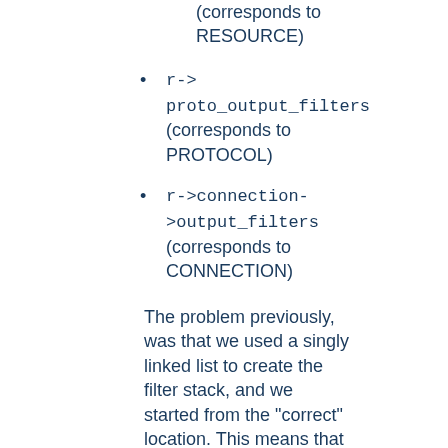(corresponds to RESOURCE)
r->proto_output_filters (corresponds to PROTOCOL)
r->connection->output_filters (corresponds to CONNECTION)
The problem previously, was that we used a singly linked list to create the filter stack, and we started from the "correct" location. This means that if I had a RESOURCE filter on the stack, and I added a CONNECTION filter, the CONNECTION filter would be ignored. This should make sense, because we would insert the connection filter at the top